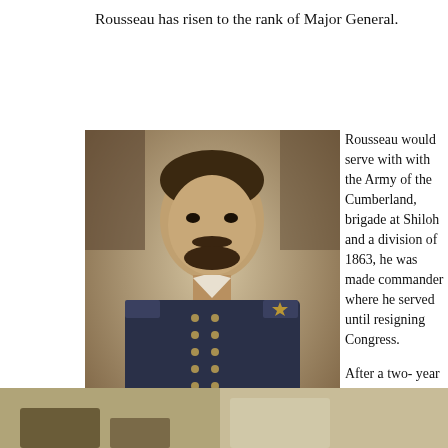Rousseau has risen to the rank of Major General.
[Figure (photo): Sepia-toned portrait photograph of a Civil War Union general in uniform, seated, facing slightly left, with dark hair and a mustache and beard.]
Rousseau would serve with with the Army of the Cumberland, brigade at Shiloh and a division of 1863, he was made commander where he served until resigning Congress.

After a two- year tumultuous return to the military in 1866, him a brigadier general in that capacity when he died

Rousseau is not buried at C at Arlington National Ceme